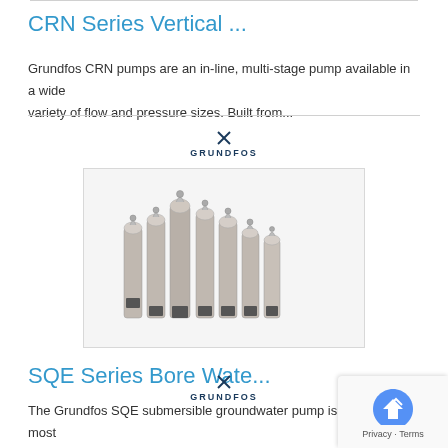CRN Series Vertical ...
Grundfos CRN pumps are an in-line, multi-stage pump available in a wide variety of flow and pressure sizes. Built from...
[Figure (photo): Grundfos logo above a product image showing multiple submersible pump units (SQE series) of varying heights arranged together, displayed in a gray-bordered box.]
SQE Series Bore Wate...
The Grundfos SQE submersible groundwater pump is one of the most advanced submersible pump solutions for domestic applications. Equipped with...
[Figure (logo): Grundfos logo at the bottom of the page, partially visible.]